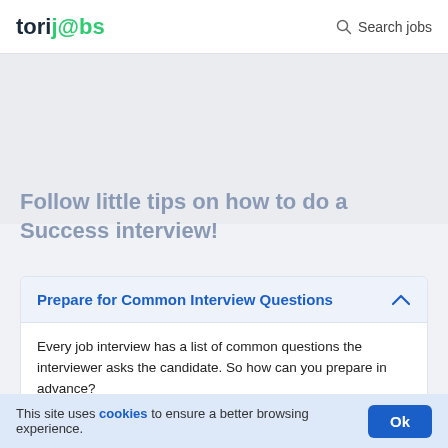torijobs   Search jobs
Follow little tips on how to do a Success interview!
Prepare for Common Interview Questions
Every job interview has a list of common questions the interviewer asks the candidate. So how can you prepare in advance?
Do an internet search of any list and think of the questions you're likely to encounter according to your age and status (about to
This site uses cookies to ensure a better browsing experience.   Ok